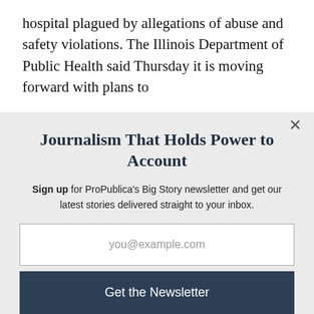hospital plagued by allegations of abuse and safety violations. The Illinois Department of Public Health said Thursday it is moving forward with plans to
Journalism That Holds Power to Account
Sign up for ProPublica's Big Story newsletter and get our latest stories delivered straight to your inbox.
you@example.com
Get the Newsletter
No thanks, I'm all set
This site is protected by reCAPTCHA and the Google Privacy Policy and Terms of Service apply.